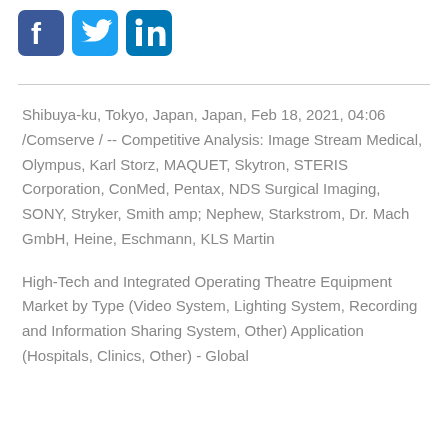[Figure (logo): Social media icons: Facebook, Twitter, LinkedIn]
Shibuya-ku, Tokyo, Japan, Japan, Feb 18, 2021, 04:06 /Comserve / -- Competitive Analysis: Image Stream Medical, Olympus, Karl Storz, MAQUET, Skytron, STERIS Corporation, ConMed, Pentax, NDS Surgical Imaging, SONY, Stryker, Smith amp; Nephew, Starkstrom, Dr. Mach GmbH, Heine, Eschmann, KLS Martin
High-Tech and Integrated Operating Theatre Equipment Market by Type (Video System, Lighting System, Recording and Information Sharing System, Other) Application (Hospitals, Clinics, Other) - Global